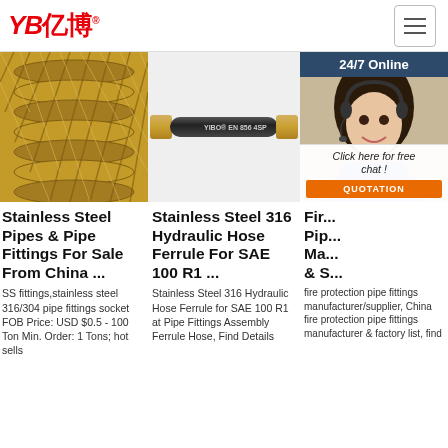YB亿博® [logo] with hamburger menu
[Figure (photo): Close-up photo of braided stainless steel hose/pipe with golden-brown metallic weave pattern]
[Figure (photo): Black hydraulic hose with gold end fitting, labeled YIBO EN 856 4SP]
[Figure (photo): Woman with headset smiling, '24/7 Online' banner, chat popup with 'Click here for free chat!' and orange QUOTATION button]
Stainless Steel Pipes & Pipe Fittings For Sale From China ...
SS fittings,stainless steel 316/304 pipe fittings socket FOB Price: USD $0.5 - 100 Ton Min. Order: 1 Tons; hot sells
Stainless Steel 316 Hydraulic Hose Ferrule For SAE 100 R1 ...
Stainless Steel 316 Hydraulic Hose Ferrule for SAE 100 R1 at Pipe Fittings Assembly Ferrule Hose, Find Details
Fir... Pip... Ma... & S...
fire protection pipe fittings manufacturer/supplier, China fire protection pipe fittings manufacturer & factory list, find